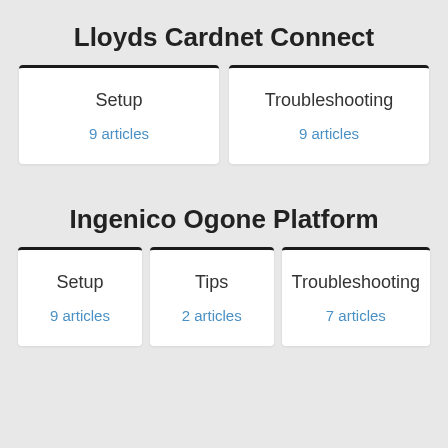Lloyds Cardnet Connect
Setup
9 articles
Troubleshooting
9 articles
Ingenico Ogone Platform
Setup
9 articles
Tips
2 articles
Troubleshooting
7 articles